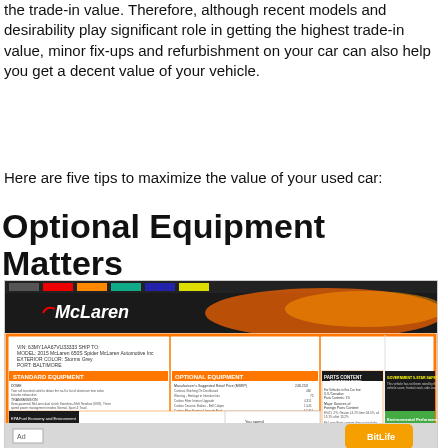the trade-in value. Therefore, although recent models and desirability play significant role in getting the highest trade-in value, minor fix-ups and refurbishment on your car can also help you get a decent value of your vehicle.
Here are five tips to maximize the value of your used car:
Optional Equipment Matters
[Figure (screenshot): Screenshot of a McLaren vehicle window sticker showing Standard Equipment, Optional Equipment, Parts Content Information, Government 5-Star Safety Ratings, Environmental Performance, and Fuel Economy sections. Below the sticker is an advertisement bar with an 'Ad' label and a BitLife app icon.]